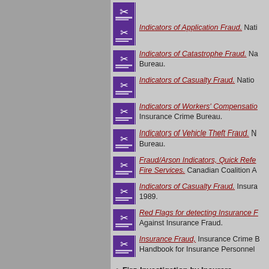Indicators of Application Fraud. Nati...
Indicators of Catastrophe Fraud. Na... Bureau.
Indicators of Casualty Fraud. Natio...
Indicators of Workers' Compensatio... Insurance Crime Bureau.
Indicators of Vehicle Theft Fraud. N... Bureau.
Fraud/Arson Indicators, Quick Refer... Fire Services. Canadian Coalition A...
Indicators of Casualty Fraud. Insura... 1989.
Red Flags for detecting Insurance F... Against Insurance Fraud.
Insurance Fraud, Insurance Crime B... Handbook for Insurance Personnel
Fire Investigation by Insurers